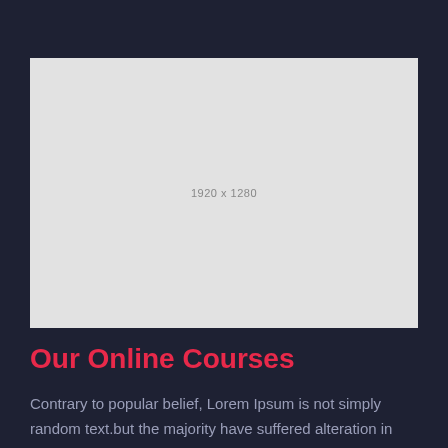[Figure (other): Gray placeholder image box showing dimensions 1920 x 1280]
Our Online Courses
Contrary to popular belief, Lorem Ipsum is not simply random text.but the majority have suffered alteration in some form.